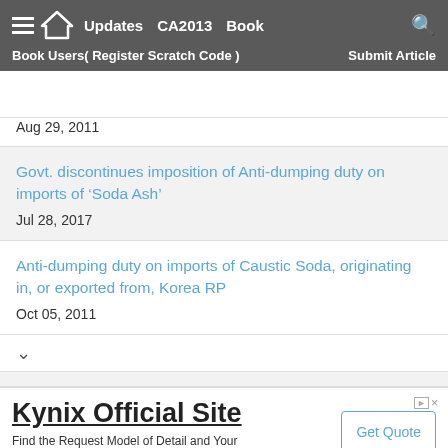Updates  CA2013  Book  Book Users( Register Scratch Code )  Submit Article
Aug 29, 2011
Govt. discontinues imposition of Anti-dumping duty on imports of 'Soda Ash'
Jul 28, 2017
Anti-dumping duty on imports of Caustic Soda, originating in, or exported from, Korea RP
Oct 05, 2011
[Figure (screenshot): Advertisement banner for Kynix Official Site with Get Quote button]